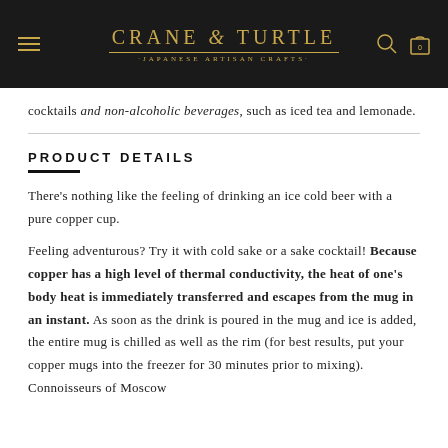CRANE & TURTLE · JAPANESE ARTISAN CRAFTS ·
cocktails and non-alcoholic beverages, such as iced tea and lemonade.
PRODUCT DETAILS
There's nothing like the feeling of drinking an ice cold beer with a pure copper cup.
Feeling adventurous? Try it with cold sake or a sake cocktail! Because copper has a high level of thermal conductivity, the heat of one's body heat is immediately transferred and escapes from the mug in an instant. As soon as the drink is poured in the mug and ice is added, the entire mug is chilled as well as the rim (for best results, put your copper mugs into the freezer for 30 minutes prior to mixing). Connoisseurs of Moscow